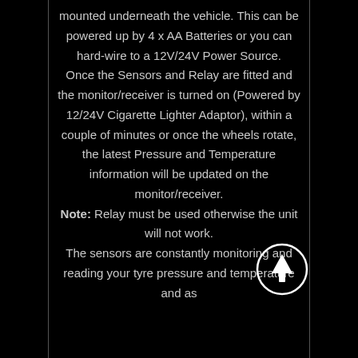mounted underneath the vehicle. This can be powered up by 4 x AA Batteries or you can hard-wire to a 12V/24V Power Source. Once the Sensors and Relay are fitted and the monitor/receiver is turned on (Powered by 12/24V Cigarette Lighter Adaptor), within a couple of minutes or once the wheels rotate, the latest Pressure and Temperature information will be updated on the monitor/receiver. Note: Relay must be used otherwise the unit will not work. The sensors are constantly monitoring and reading your tyre pressure and temperature and as
[Figure (other): A circular up-arrow navigation button with white outline and arrow on black background]